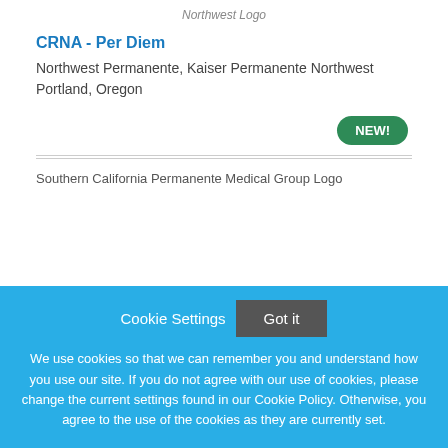Northwest Logo
CRNA - Per Diem
Northwest Permanente, Kaiser Permanente Northwest
Portland, Oregon
[Figure (logo): Southern California Permanente Medical Group Logo]
Cookie Settings   Got it
We use cookies so that we can remember you and understand how you use our site. If you do not agree with our use of cookies, please change the current settings found in our Cookie Policy. Otherwise, you agree to the use of the cookies as they are currently set.